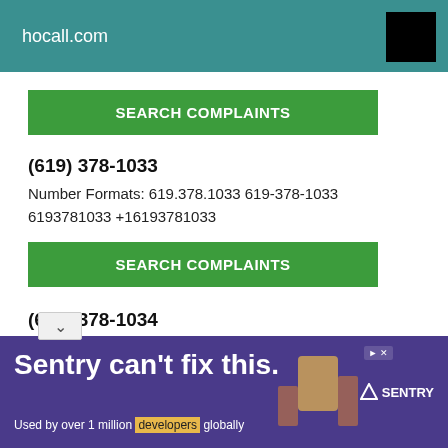hocall.com
SEARCH COMPLAINTS
(619) 378-1033
Number Formats: 619.378.1033 619-378-1033 6193781033 +16193781033
SEARCH COMPLAINTS
(619) 378-1034
Number Formats: 619.378.1034 619-378-1034 6193781034 +16193781034
SEARCH COMPLAINTS
Sentry can't fix this. Used by over 1 million developers globally